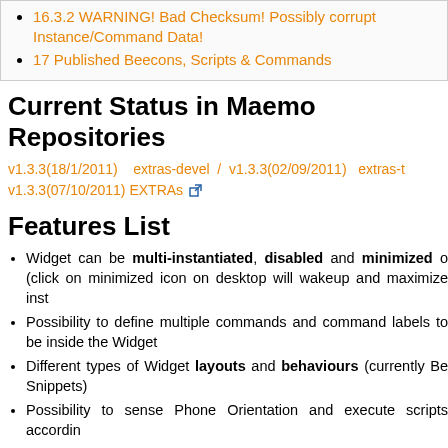16.3.2 WARNING! Bad Checksum! Possibly corrupt Instance/Command Data!
17 Published Beecons, Scripts & Commands
Current Status in Maemo Repositories
v1.3.3(18/1/2011)   extras-devel  /  v1.3.3(02/09/2011)  extras-t v1.3.3(07/10/2011) EXTRAs
Features List
Widget can be multi-instantiated, disabled and minimized o (click on minimized icon on desktop will wakeup and maximize inst
Possibility to define multiple commands and command labels to be inside the Widget
Different types of Widget layouts and behaviours (currently Bee Snippets)
Possibility to sense Phone Orientation and execute scripts accordin
Possibility to sense GPS/Location information/FIX from the p execute scripts accordingly
Possibility to hide the background Canvas both for Beecons and S
Possibility to use icons or images instead of text, both for Beco